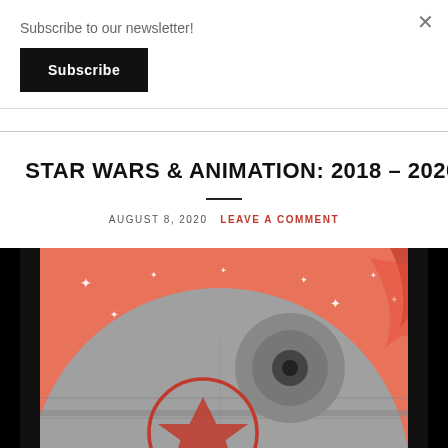Subscribe to our newsletter!
Subscribe
STAR WARS & ANIMATION: 2018 – 2020
AUGUST 8, 2020  LEAVE A COMMENT
[Figure (illustration): Stylized illustration of the Death Star from Star Wars on an orange/salmon background with sparkle stars and red flame-like shapes. A red Rebel Alliance symbol is visible on the lower portion of the Death Star.]